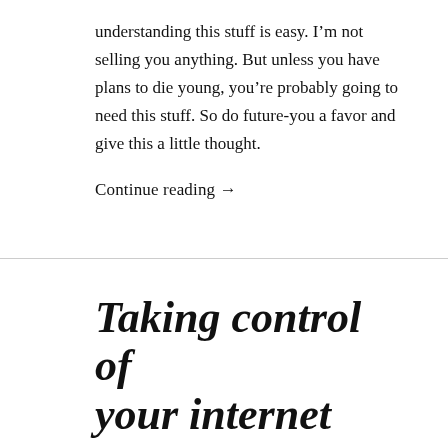understanding this stuff is easy. I'm not selling you anything. But unless you have plans to die young, you're probably going to need this stuff. So do future-you a favor and give this a little thought.
Continue reading →
Taking control of your internet
MARCH 8, 2019 | BLAIR
A while back, I finished Matthew